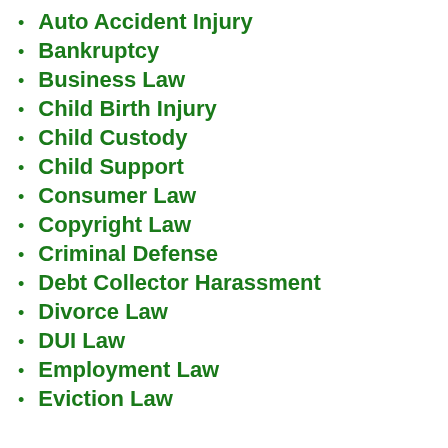Auto Accident Injury
Bankruptcy
Business Law
Child Birth Injury
Child Custody
Child Support
Consumer Law
Copyright Law
Criminal Defense
Debt Collector Harassment
Divorce Law
DUI Law
Employment Law
Eviction Law